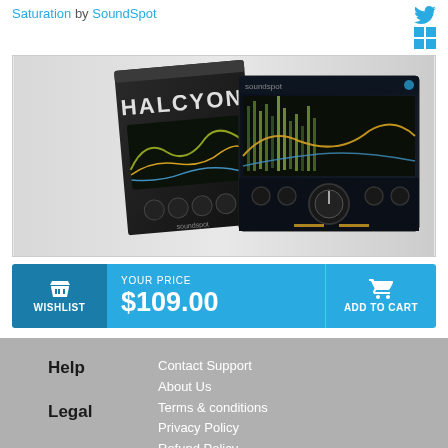Saturation by SoundSpot
[Figure (photo): Product image of Halcyon plugin by SoundSpot showing a dark plugin box with the name HALCYON and a hardware/software UI panel with waveform display]
YOUR PRICE $109.00
WISHLIST
ADD TO CART
Help | Contact Support | About Us | Legal | Terms & conditions | Privacy Policy | Refund Policy | Bl... | In...